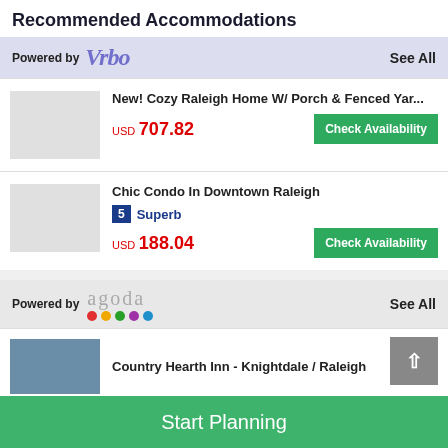Recommended Accommodations
Powered by Vrbo | See All
New! Cozy Raleigh Home W/ Porch & Fenced Yar...
USD 707.82
Check Availability
Chic Condo In Downtown Raleigh
5 Superb
USD 188.04
Check Availability
Powered by agoda | See All
Country Hearth Inn - Knightdale / Raleigh
Start Planning